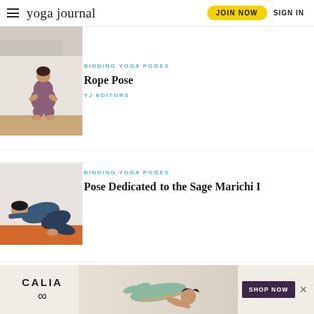yoga journal | JOIN NOW | SIGN IN
[Figure (photo): Partial view of a yoga pose image at top of page]
BINDING YOGA POSES
Rope Pose
YJ EDITORS
[Figure (photo): Woman in purple activewear performing a deep squat binding pose on a wooden floor]
BINDING YOGA POSES
Pose Dedicated to the Sage Marichi I
[Figure (photo): Man in dark activewear performing Marichyasana I on an orange yoga mat]
[Figure (photo): CALIA advertisement banner with woman in yoga pose, SHOP NOW button]